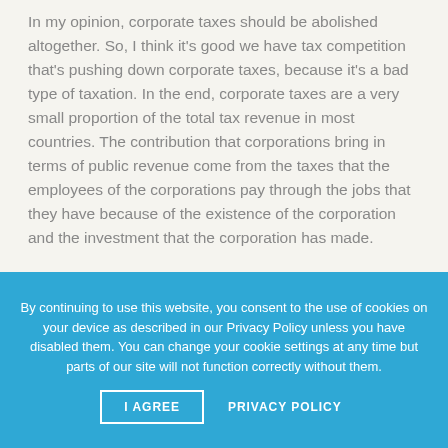In my opinion, corporate taxes should be abolished altogether. So, I think it's good we have tax competition that's pushing down corporate taxes, because it's a bad type of taxation. In the end, corporate taxes are a very small proportion of the total tax revenue in most countries. The contribution that corporations bring in terms of public revenue come from the taxes that the employees of the corporations pay through the jobs that they have because of the existence of the corporation and the investment that the corporation has made.
By continuing to use this website, you consent to the use of cookies on your device as described in our Privacy Policy unless you have disabled them. You can change your cookie settings at any time but parts of our site will not function correctly without them.
I AGREE   PRIVACY POLICY